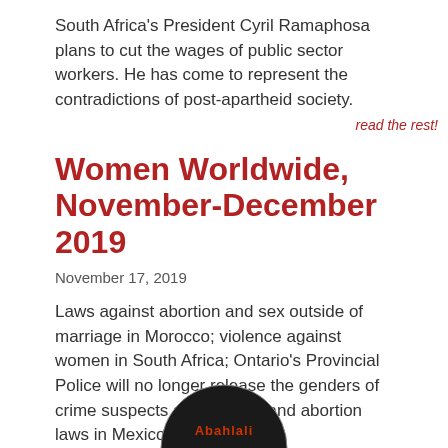South Africa's President Cyril Ramaphosa plans to cut the wages of public sector workers. He has come to represent the contradictions of post-apartheid society.
read the rest!
Women Worldwide, November-December 2019
November 17, 2019
Laws against abortion and sex outside of marriage in Morocco; violence against women in South Africa; Ontario's Provincial Police will no longer release the genders of crime suspects and victims, and abortion laws in Mexico.
read the rest!
[Figure (logo): Abahlali circular logo with red text on dark background]